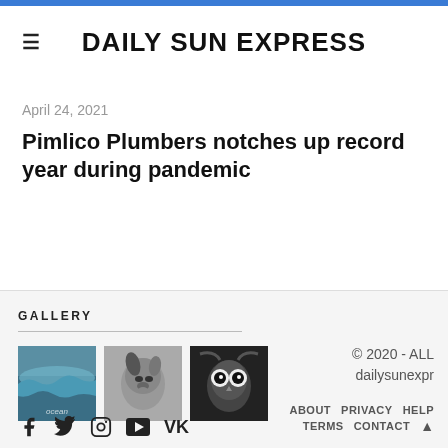DAILY SUN EXPRESS
April 24, 2021
Pimlico Plumbers notches up record year during pandemic
GALLERY
[Figure (photo): Three thumbnail photos: ocean wave aerial, dog portrait black and white, owl portrait black and white]
© 2020 - ALL dailysunexpr  ABOUT  PRIVACY  HELP  TERMS  CONTACT